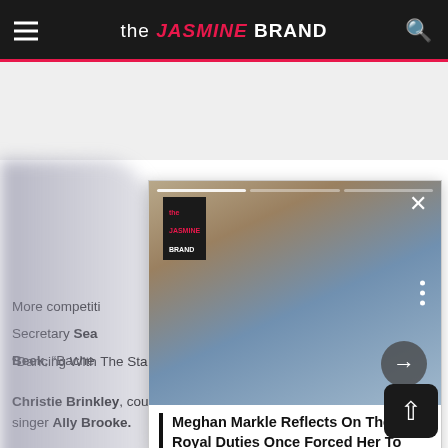the JASMINE BRAND
[Figure (screenshot): Website screenshot of theJasmineBrand.com showing a popup card with Meghan Markle holding her baby, with article text below about Dancing With The Stars cast]
More competitors... Secretary Sear... Beek, "Bache... Christie Brinkley, country singer Lauren Alaina, Fifth Harmony singer Ally Brooke.
"Dancing With The Stars" returns on Sept. 16th.